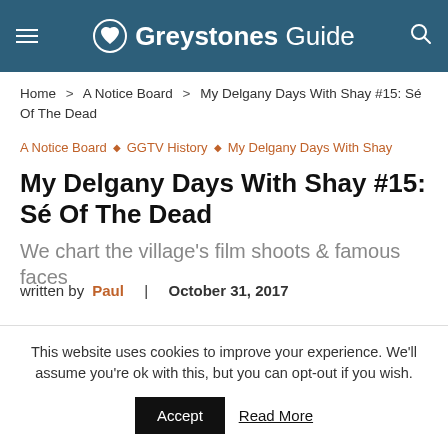Greystones Guide
Home > A Notice Board > My Delgany Days With Shay #15: Sé Of The Dead
A Notice Board ◇ GGTV History ◇ My Delgany Days With Shay
My Delgany Days With Shay #15: Sé Of The Dead
We chart the village's film shoots & famous faces
written by Paul | October 31, 2017
This website uses cookies to improve your experience. We'll assume you're ok with this, but you can opt-out if you wish. Accept Read More